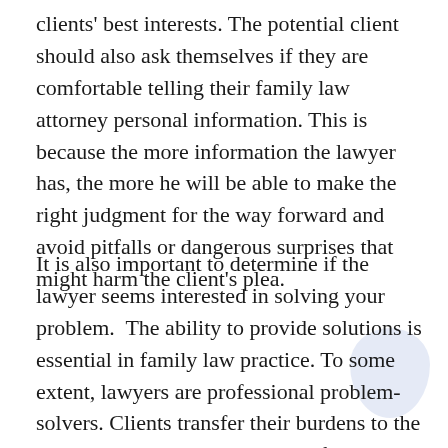clients' best interests. The potential client should also ask themselves if they are comfortable telling their family law attorney personal information. This is because the more information the lawyer has, the more he will be able to make the right judgment for the way forward and avoid pitfalls or dangerous surprises that might harm the client's plea.
It is also important to determine if the lawyer seems interested in solving your problem.  The ability to provide solutions is essential in family law practice. To some extent, lawyers are professional problem-solvers. Clients transfer their burdens to the attorneys, so the attorneys must focus on obtaining the best practical outcome. Therefore, when selecting an attorney, ensure that they can correctly identify what the issues and problems are and, most importantly, the solutions they offer.